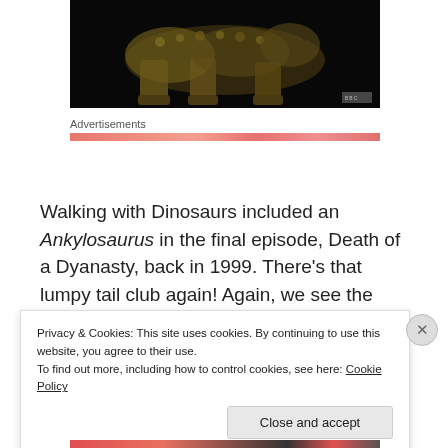[Figure (photo): Ankylosaur dinosaur 3D render from BBC Walking with Dinosaurs, dark background with golden-brown armored dinosaur visible from mid-body down, BBC logo watermark in bottom right]
Advertisements
Walking with Dinosaurs included an Ankylosaurus in the final episode, Death of a Dyanasty, back in 1999. There’s that lumpy tail club again! Again, we see the influences
Privacy & Cookies: This site uses cookies. By continuing to use this website, you agree to their use.
To find out more, including how to control cookies, see here: Cookie Policy
Close and accept